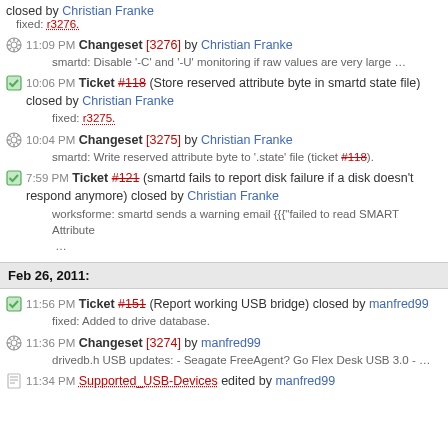closed by Christian Franke
fixed: r3276.
11:09 PM Changeset [3276] by Christian Franke — smartd: Disable '-C' and '-U' monitoring if raw values are very large …
10:06 PM Ticket #118 (Store reserved attribute byte in smartd state file) closed by Christian Franke
fixed: r3275.
10:04 PM Changeset [3275] by Christian Franke — smartd: Write reserved attribute byte to '.state' file (ticket #118).
7:59 PM Ticket #121 (smartd fails to report disk failure if a disk doesn't respond anymore) closed by Christian Franke
worksforme: smartd sends a warning email {{{"failed to read SMART Attribute …
Feb 26, 2011:
11:56 PM Ticket #151 (Report working USB bridge) closed by manfred99
fixed: Added to drive database.
11:36 PM Changeset [3274] by manfred99 — drivedb.h USB updates: - Seagate FreeAgent? Go Flex Desk USB 3.0 - …
11:34 PM Supported_USB-Devices edited by manfred99